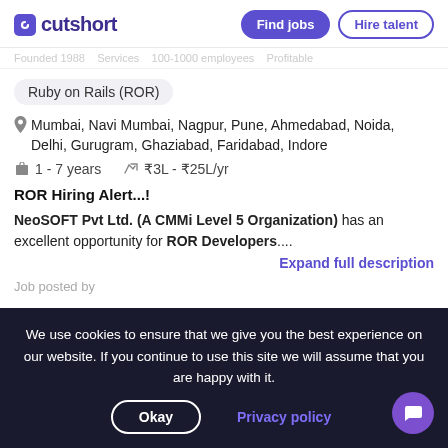cutshort | Find jobs | Hire talent
Founded 1988   Services   100-1000 employees   Profitable
Ruby on Rails (ROR)
Mumbai, Navi Mumbai, Nagpur, Pune, Ahmedabad, Noida, Delhi, Gurugram, Ghaziabad, Faridabad, Indore
1 - 7 years   ₹3L - ₹25L/yr
ROR Hiring Alert...!
NeoSOFT Pvt Ltd. (A CMMi Level 5 Organization) has an excellent opportunity for ROR Developers....
Expand full description
Job posted by
We use cookies to ensure that we give you the best experience on our website. If you continue to use this site we will assume that you are happy with it.
Okay | Privacy policy